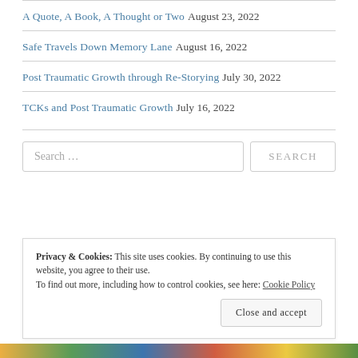A Quote, A Book, A Thought or Two August 23, 2022
Safe Travels Down Memory Lane August 16, 2022
Post Traumatic Growth through Re-Storying July 30, 2022
TCKs and Post Traumatic Growth July 16, 2022
Search …
Privacy & Cookies: This site uses cookies. By continuing to use this website, you agree to their use. To find out more, including how to control cookies, see here: Cookie Policy
Close and accept